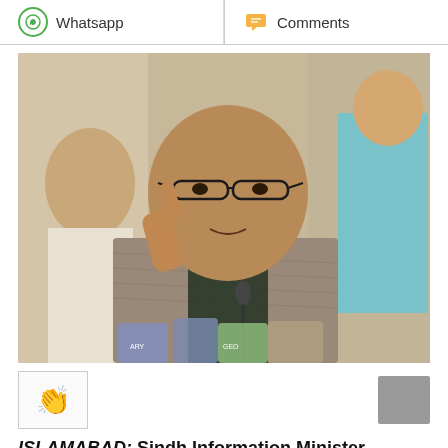Whatsapp   Comments
[Figure (photo): A man in a grey checked blazer and dark shirt speaking at a press conference, gesturing with one finger raised, wearing glasses, with microphones in front and people seated behind him.]
ISLAMABAD: Sindh Information Minister Saeed...